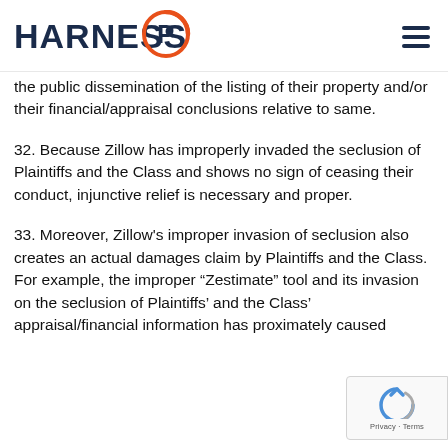HARNESS IP
the public dissemination of the listing of their property and/or their financial/appraisal conclusions relative to same.
32. Because Zillow has improperly invaded the seclusion of Plaintiffs and the Class and shows no sign of ceasing their conduct, injunctive relief is necessary and proper.
33. Moreover, Zillow's improper invasion of seclusion also creates an actual damages claim by Plaintiffs and the Class. For example, the improper “Zestimate” tool and its invasion on the seclusion of Plaintiffs' and the Class' appraisal/financial information has proximately caused